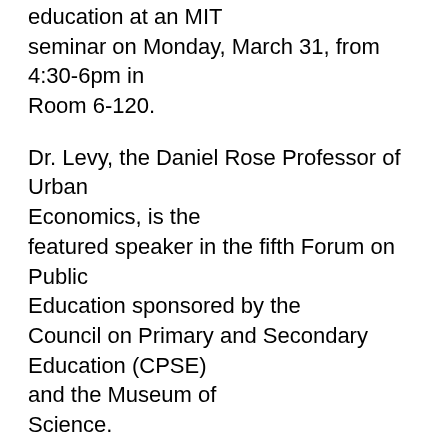education at an MIT seminar on Monday, March 31, from 4:30-6pm in Room 6-120.
Dr. Levy, the Daniel Rose Professor of Urban Economics, is the featured speaker in the fifth Forum on Public Education sponsored by the Council on Primary and Secondary Education (CPSE) and the Museum of Science.
The book, written with Harvard University Professor Richard Murnane, describes the difficulty parents currently have in assessing